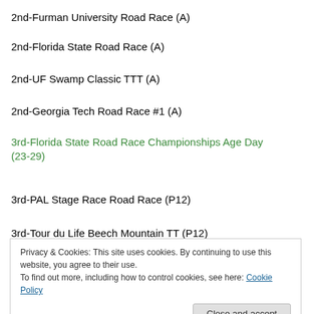2nd-Furman University Road Race (A)
2nd-Florida State Road Race (A)
2nd-UF Swamp Classic TTT (A)
2nd-Georgia Tech Road Race #1 (A)
3rd-Florida State Road Race Championships Age Day (23-29)
3rd-PAL Stage Race Road Race (P12)
3rd-Tour du Life Beech Mountain TT (P12)
Privacy & Cookies: This site uses cookies. By continuing to use this website, you agree to their use.
To find out more, including how to control cookies, see here: Cookie Policy